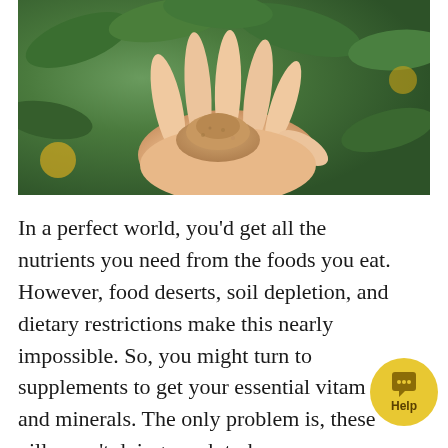[Figure (photo): A hand with an open palm holding a small mound of brown powder/supplement, with green leaves and yellow fruit visible in the blurred background.]
In a perfect world, you'd get all the nutrients you need from the foods you eat. However, food deserts, soil depletion, and dietary restrictions make this nearly impossible. So, you might turn to supplements to get your essential vitamins and minerals. The only problem is, these pills aren't doing much to keep you